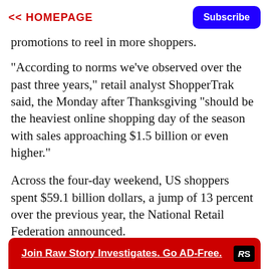<< HOMEPAGE | Subscribe
promotions to reel in more shoppers.
"According to norms we've observed over the past three years," retail analyst ShopperTrak said, the Monday after Thanksgiving "should be the heaviest online shopping day of the season with sales approaching $1.5 billion or even higher."
Across the four-day weekend, US shoppers spent $59.1 billion dollars, a jump of 13 percent over the previous year, the National Retail Federation announced.
[Figure (infographic): Red banner ad reading 'Join Raw Story Investigates. Go AD-Free.' with RS logo]